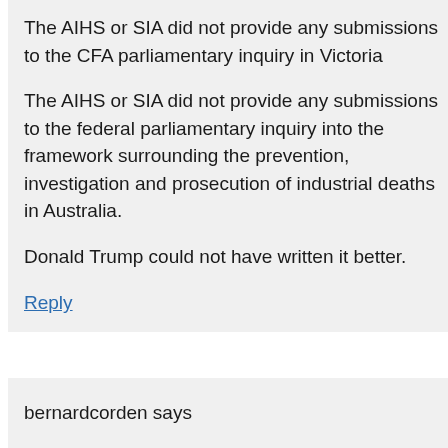The AIHS or SIA did not provide any submissions to the CFA parliamentary inquiry in Victoria
The AIHS or SIA did not provide any submissions to the federal parliamentary inquiry into the framework surrounding the prevention, investigation and prosecution of industrial deaths in Australia.
Donald Trump could not have written it better.
Reply
bernardcorden says